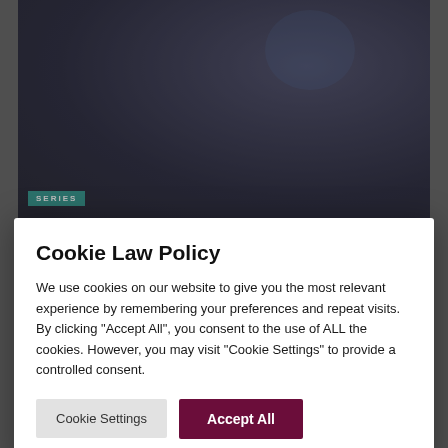[Figure (screenshot): Dark background concert/show image with a SERIES badge in teal at bottom left]
[Figure (screenshot): Dimmed background showing a media widget with 'Article Rating' label, 'No compatible source was found for this media.' error, and MisterSnake Movies Series TV Show branding]
Cookie Law Policy
We use cookies on our website to give you the most relevant experience by remembering your preferences and repeat visits. By clicking "Accept All", you consent to the use of ALL the cookies. However, you may visit "Cookie Settings" to provide a controlled consent.
Cookie Settings
Accept All